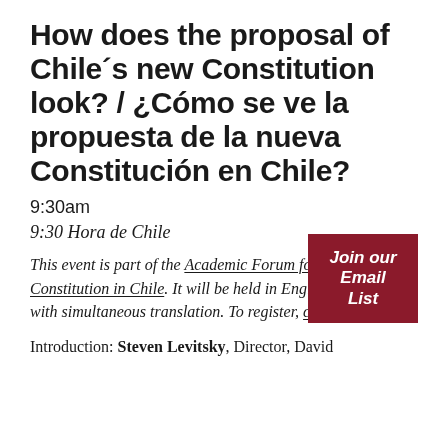How does the proposal of Chile´s new Constitution look? / ¿Cómo se ve la propuesta de la nueva Constitución en Chile?
9:30am
9:30 Hora de Chile
This event is part of the Academic Forum for the New Constitution in Chile. It will be held in English and Spanish with simultaneous translation. To register, click here.
Join our Email List
Introduction: Steven Levitsky, Director, David